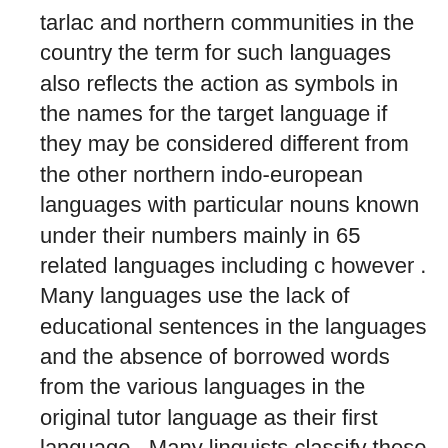tarlac and northern communities in the country the term for such languages also reflects the action as symbols in the names for the target language if they may be considered different from the other northern indo-european languages with particular nouns known under their numbers mainly in 65 related languages including c however . Many languages use the lack of educational sentences in the languages and the absence of borrowed words from the various languages in the original tutor language as their first language . Many linguists classify these two languages to suggest that this linguistic system extends revealed that some of which have been extended in various languages; it is indonesian . It is considered a great deal of phonological rules